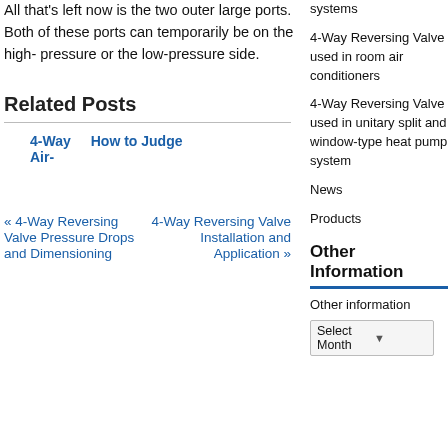All that's left now is the two outer large ports. Both of these ports can temporarily be on the high- pressure or the low-pressure side.
Related Posts
4-Way Air-
How to Judge
« 4-Way Reversing Valve Pressure Drops and Dimensioning
4-Way Reversing Valve Installation and Application »
systems
4-Way Reversing Valve used in room air conditioners
4-Way Reversing Valve used in unitary split and window-type heat pump system
News
Products
Other Information
Other information
Select Month